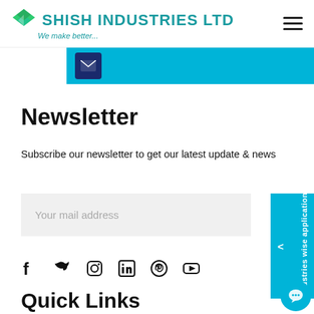SHISH INDUSTRIES LTD — We make better...
[Figure (screenshot): Blue banner strip with dark navy envelope icon on cyan/blue background]
Newsletter
Subscribe our newsletter to get our latest update & news
Your mail address (input field placeholder)
[Figure (infographic): Social media icons: Facebook, Twitter, Instagram, LinkedIn, Pinterest, YouTube]
Quick Links